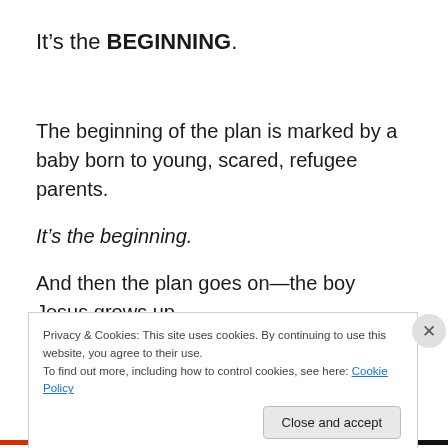It's the BEGINNING.
The beginning of the plan is marked by a baby born to young, scared, refugee parents.
It's the beginning.
And then the plan goes on—the boy Jesus grows up,
Privacy & Cookies: This site uses cookies. By continuing to use this website, you agree to their use.
To find out more, including how to control cookies, see here: Cookie Policy
Close and accept